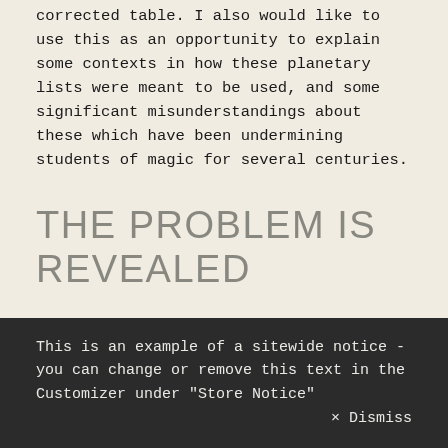corrected table. I also would like to use this as an opportunity to explain some contexts in how these planetary lists were meant to be used, and some significant misunderstandings about these which have been undermining students of magic for several centuries.
THE PROBLEM IS REVEALED
For me, the journey goes back nearly 20 years to when I was actively researching how to integrate magic and astrology. In order to
This is an example of a sitewide notice - you can change or remove this text in the Customizer under "Store Notice"
× Dismiss